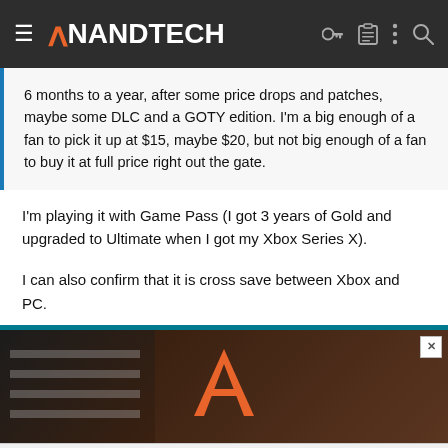AnandTech
6 months to a year, after some price drops and patches, maybe some DLC and a GOTY edition. I'm a big enough of a fan to pick it up at $15, maybe $20, but not big enough of a fan to buy it at full price right out the gate.
I'm playing it with Game Pass (I got 3 years of Gold and upgraded to Ultimate when I got my Xbox Series X).
I can also confirm that it is cross save between Xbox and PC.
[Figure (screenshot): AnandTech advertisement banner with dark background and orange A logo]
This site uses cookies to help personalise content, tailor your experience and to keep you logged in if you register. By continuing to use this site, you are consenting to our use of cookies.